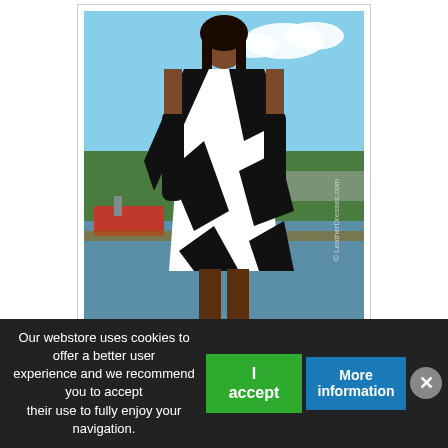[Figure (photo): A woman wearing a black and white diagonal striped leather dress with matching gloves, posed outdoors near a marina with boats and water in the background.]
Reduced price!
Leather dress DS-160
The DS-160 is a striking leather dress made of soft lamb nappa leather. The entire dress is made of about 8 cm wide, slanting strips of black and white leather. The leather dress is sleeveless, has a submarine neckline and a continuous 2-way zipper on the back.
12-15 working days
Our webstore uses cookies to offer a better user experience and we recommend you to accept their use to fully enjoy your navigation.